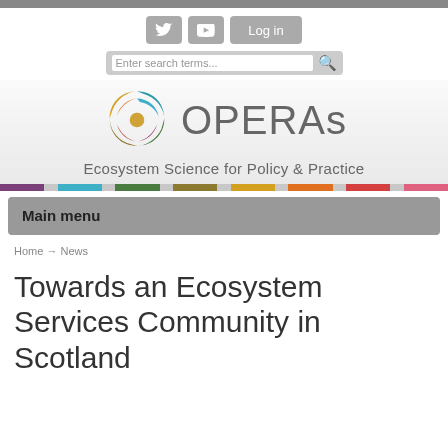[Figure (logo): OPERAs project logo with colorful spiral and text 'OPERAs - Ecosystem Science for Policy & Practice']
Main menu
Home → News
Towards an Ecosystem Services Community in Scotland